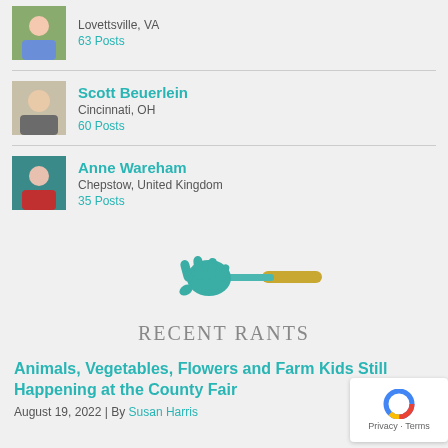Lovettsville, VA
63 Posts
Scott Beuerlein
Cincinnati, OH
60 Posts
Anne Wareham
Chepstow, United Kingdom
35 Posts
[Figure (illustration): A hand-shaped garden rake/fork tool in teal/blue-green color with a yellow handle tip]
RECENT RANTS
Animals, Vegetables, Flowers and Farm Kids Still Happening at the County Fair
August 19, 2022 | By Susan Harris